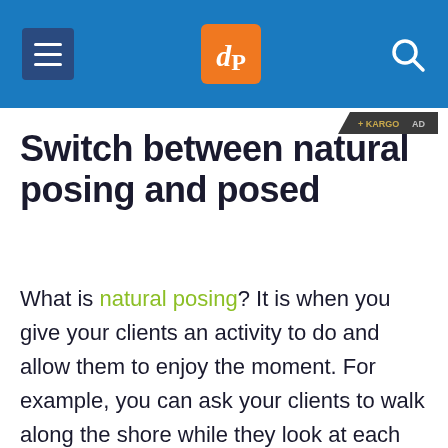dPS (Digital Photography School) navigation header with menu, logo, and search icons
Switch between natural posing and posed
What is natural posing? It is when you give your clients an activity to do and allow them to enjoy the moment. For example, you can ask your clients to walk along the shore while they look at each other and enjoy the beach views.